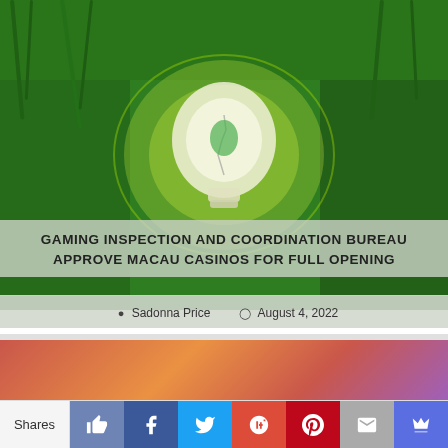[Figure (photo): Green grass background with a glowing light bulb illustration in the center, with green energy/nature theme]
GAMING INSPECTION AND COORDINATION BUREAU APPROVE MACAU CASINOS FOR FULL OPENING
Sadonna Price  August 4, 2022
[Figure (photo): Blurred casino chips on a warm red and orange gradient background]
Shares